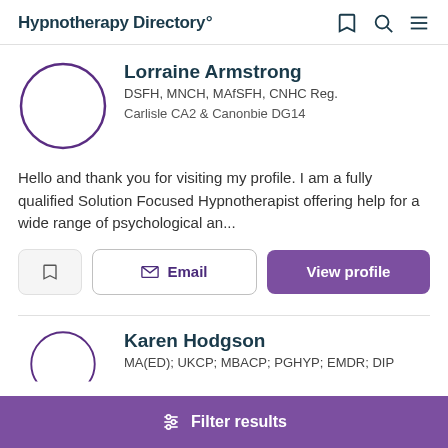Hypnotherapy Directory
Lorraine Armstrong
DSFH, MNCH, MAfSFH, CNHC Reg.
Carlisle CA2  & Canonbie DG14
Hello and thank you for visiting my profile. I am a fully qualified Solution Focused Hypnotherapist offering help for a wide range of psychological an...
Karen Hodgson
MA(ED); UKCP; MBACP; PGHYP; EMDR; DIP